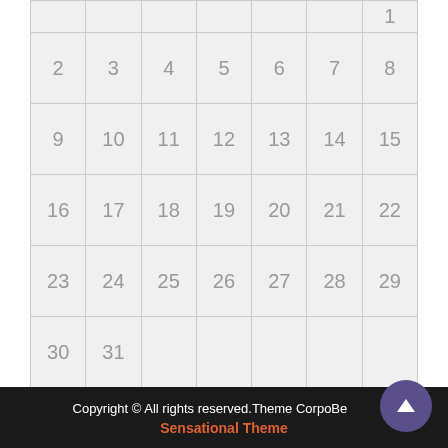|  |  |  |  |  |  | 1 |
| 2 | 3 | 4 | 5 | 6 | 7 | 8 |
| 9 | 10 | 11 | 12 | 13 | 14 | 15 |
| 16 | 17 | 18 | 19 | 20 | 21 | 22 |
| 23 | 24 | 25 | 26 | 27 | 28 | 29 |
| 30 | 31 |  |  |  |  |  |
« Sep   Nov »
Copyright © All rights reserved.Theme CorpoBeat by Sensational Theme